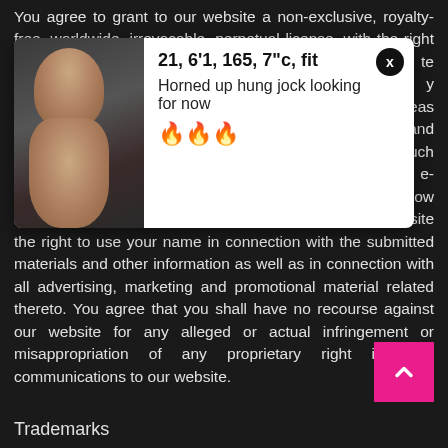You agree to grant to our website a non-exclusive, royalty-free, worldwide, irrevocable, perpetual license, with the right to sublicense, to use, copy, adapt, modify, distribute, license, sell, transfer, publicly display, publicly perform, transmit, stream, broadcast, access, view, and otherwise exploit such comments, ideas contained therein for new or improved products and services) you submit to any public areas of our website (such as bulletin boards, forums, blog, and newsgroups) or by e-mail to our website by all means and in any media now known or hereafter developed. You also grant to our website the right to use your name in connection with the submitted materials and other information as well as in connection with all advertising, marketing and promotional material related thereto. You agree that you shall have no recourse against our website for any alleged or actual infringement or misappropriation of any proprietary right in your communications to our website.
[Figure (photo): Popup overlay showing a photo of a person on the left and text on the right reading '21, 6'1, 165, 7"c, fit' and 'Horned up hung jock looking for now' with fire emojis, and a close button]
Trademarks